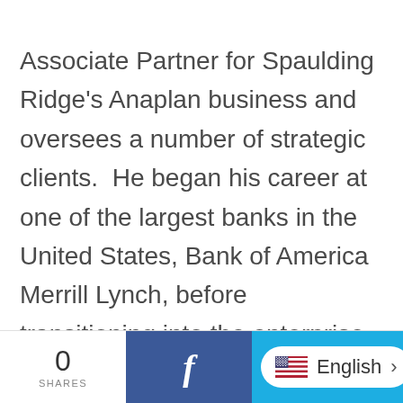Associate Partner for Spaulding Ridge's Anaplan business and oversees a number of strategic clients.  He began his career at one of the largest banks in the United States, Bank of America Merrill Lynch, before transitioning into the enterprise technology space. Karthik focuses on providing wholistic, technology-agnostic, solutions that center around the office of the CFO, and has led multiple global financial transformation efforts across industries spanning from Healthcare to Aerospace. Karthik is based in Austin.
0 SHARES  |  Facebook share  |  English language selector